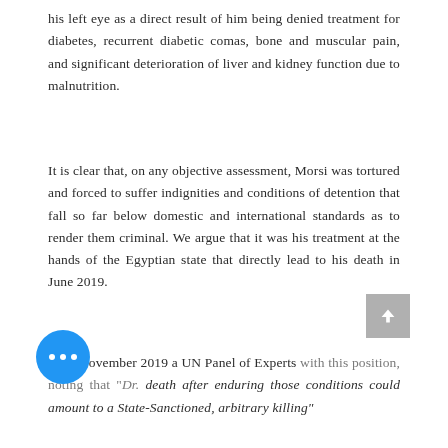his left eye as a direct result of him being denied treatment for diabetes, recurrent diabetic comas, bone and muscular pain, and significant deterioration of liver and kidney function due to malnutrition.
It is clear that, on any objective assessment, Morsi was tortured and forced to suffer indignities and conditions of detention that fall so far below domestic and international standards as to render them criminal. We argue that it was his treatment at the hands of the Egyptian state that directly lead to his death in June 2019.
On 8 November 2019 a UN Panel of Experts [agreed] with this position, noting that "Dr. [Morsi's] death after enduring those conditions could amount to a State-Sanctioned, arbitrary killing"